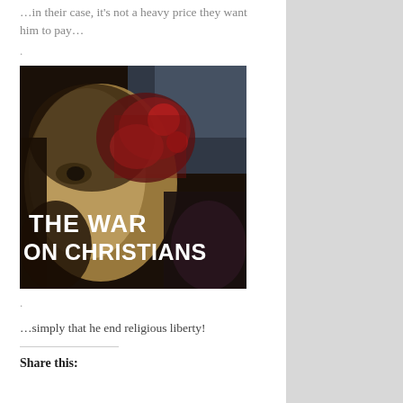…in their case, it's not a heavy price they want him to pay…
.
[Figure (illustration): Religious icon face partially damaged, with text overlay reading 'THE WAR ON CHRISTIANS' in bold white letters]
.
…simply that he end religious liberty!
Share this: